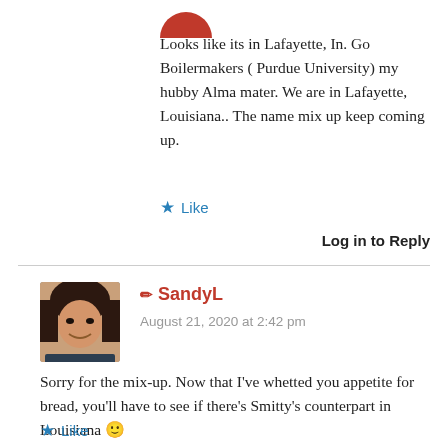[Figure (photo): Partial view of a user avatar at the top left of the first comment]
Looks like its in Lafayette, In. Go Boilermakers ( Purdue University) my hubby Alma mater. We are in Lafayette, Louisiana.. The name mix up keep coming up.
★ Like
Log in to Reply
[Figure (photo): Profile photo of SandyL, a person with short dark hair, smiling]
✏ SandyL
August 21, 2020 at 2:42 pm
Sorry for the mix-up. Now that I've whetted you appetite for bread, you'll have to see if there's Smitty's counterpart in Louisiana 🙂
★ Like